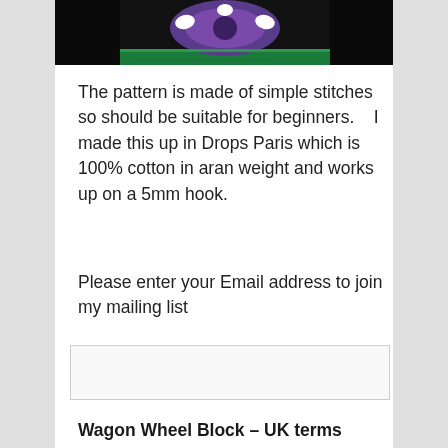[Figure (photo): Top portion of a crochet square block with black background, purple and green yarn pattern visible at bottom of cropped image]
The pattern is made of simple stitches so should be suitable for beginners.    I made this up in Drops Paris which is 100% cotton in aran weight and works up on a 5mm hook.
Please enter your Email address to join my mailing list
Wagon Wheel Block – UK terms
Round 1.    Chain five and join to make a circle.